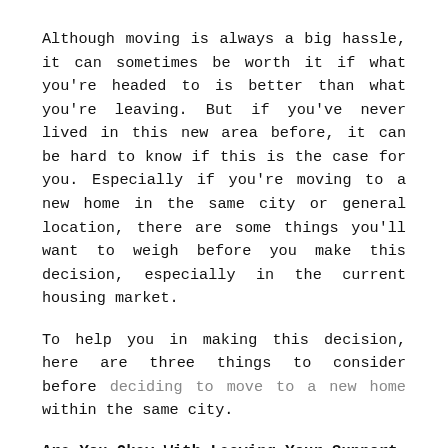Although moving is always a big hassle, it can sometimes be worth it if what you're headed to is better than what you're leaving. But if you've never lived in this new area before, it can be hard to know if this is the case for you. Especially if you're moving to a new home in the same city or general location, there are some things you'll want to weigh before you make this decision, especially in the current housing market.
To help you in making this decision, here are three things to consider before deciding to move to a new home within the same city.
Are You Okay With Leaving Your Support System?